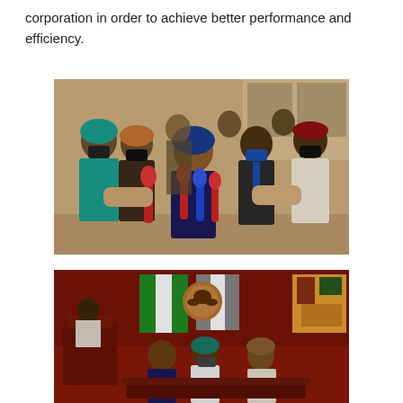corporation in order to achieve better performance and efficiency.
[Figure (photo): Group of people wearing face masks at a press briefing or official event; a woman in blue headwrap and dress speaks into multiple microphones held by reporters, surrounded by officials in traditional and formal attire.]
[Figure (photo): Official government meeting or ceremony; a person speaks at a podium with Nigerian flags and a coat of arms visible in the background, seated officials in traditional attire in the foreground.]